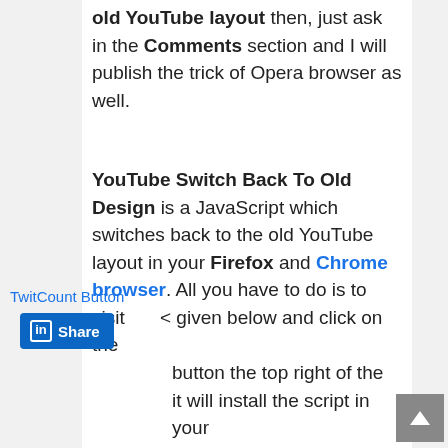old YouTube layout then, just ask in the Comments section and I will publish the trick of Opera browser as well.
YouTube Switch Back To Old Design is a JavaScript which switches back to the old YouTube layout in your Firefox and Chrome browser. All you have to do is to visit < given below and click on the button the top right of the it will install the script in your r and when you will open the YouTube, it will show the old YouTube layout.
TwitCount Button
[Figure (other): LinkedIn Share button with blue background and 'in' icon]